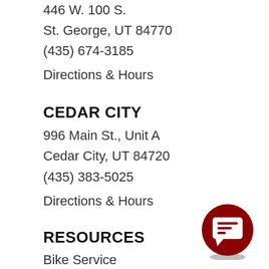446 W. 100 S.
St. George, UT 84770
(435) 674-3185
Directions & Hours
CEDAR CITY
996 Main St., Unit A
Cedar City, UT 84720
(435) 383-5025
Directions & Hours
RESOURCES
Bike Service
Bike Rentals
Careers
Financing